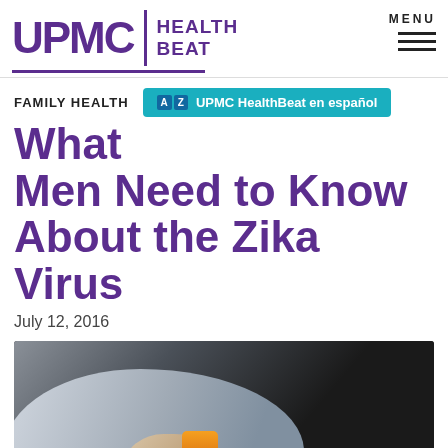UPMC | HEALTH BEAT
FAMILY HEALTH
UPMC HealthBeat en español
What Men Need to Know About the Zika Virus
July 12, 2016
[Figure (photo): A person wearing a light blue shirt applying insect repellent spray, holding an orange can, with a dark blurred background.]